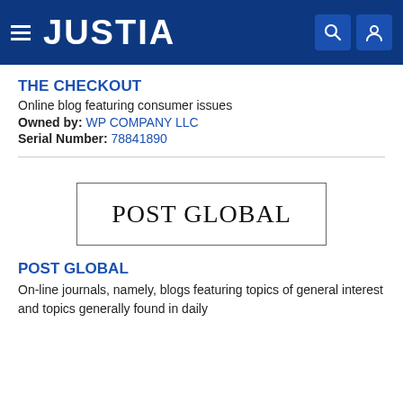JUSTIA
THE CHECKOUT
Online blog featuring consumer issues
Owned by: WP COMPANY LLC
Serial Number: 78841890
[Figure (logo): POST GLOBAL trademark image in a rectangular border, serif font]
POST GLOBAL
On-line journals, namely, blogs featuring topics of general interest and topics generally found in daily